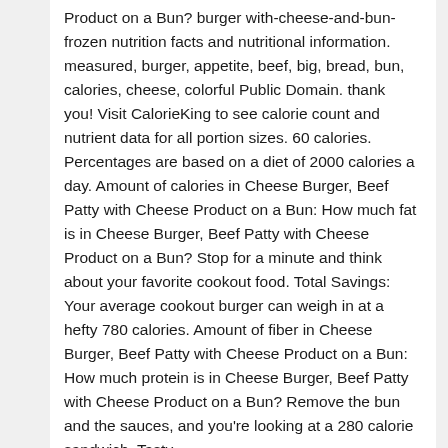Product on a Bun? burger with-cheese-and-bun-frozen nutrition facts and nutritional information. measured, burger, appetite, beef, big, bread, bun, calories, cheese, colorful Public Domain. thank you! Visit CalorieKing to see calorie count and nutrient data for all portion sizes. 60 calories. Percentages are based on a diet of 2000 calories a day. Amount of calories in Cheese Burger, Beef Patty with Cheese Product on a Bun: How much fat is in Cheese Burger, Beef Patty with Cheese Product on a Bun? Stop for a minute and think about your favorite cookout food. Total Savings: Your average cookout burger can weigh in at a hefty 780 calories. Amount of fiber in Cheese Burger, Beef Patty with Cheese Product on a Bun: How much protein is in Cheese Burger, Beef Patty with Cheese Product on a Bun? Remove the bun and the sauces, and you're looking at a 280 calorie sandwich. Tasty